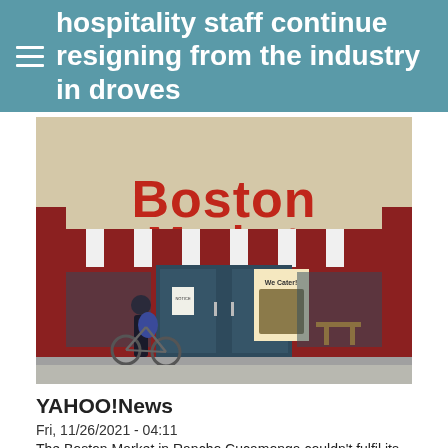hospitality staff continue resigning from the industry in droves
[Figure (photo): Boston Market restaurant storefront with red signage, red and white striped awning, blue-framed glass doors, a person with a bicycle standing at the entrance, and a 'We Cater!' poster in the window.]
YAHOO!News
Fri, 11/26/2021 - 04:11
The Boston Market in Rancho Cucamonga couldn't fulfil its Thanksgiving orders because staff didn't come to work, reports say